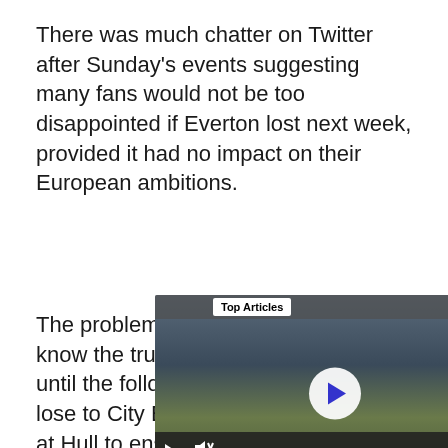There was much chatter on Twitter after Sunday's events suggesting many fans would not be too disappointed if Everton lost next week, provided it had no impact on their European ambitions.
The problem with that is we will not know the true impact of any defeat until the following week. Should they lose to City Everton will need a result at Hull to ensure European qualification and keep Tottenham from leapfrogging them in the table.
[Figure (screenshot): Video player showing Top Articles section with a baseball scene. Controls include play, mute, and next arrow buttons. Caption reads: Rangers relievers hilariously]